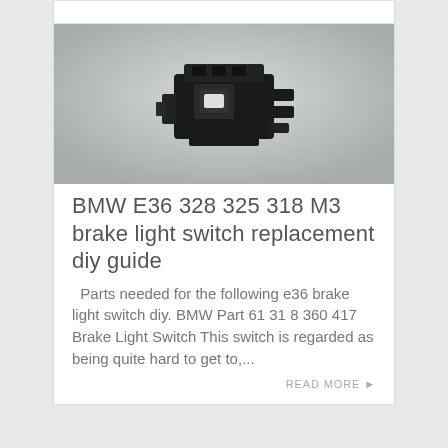[Figure (photo): Photo of a BMW brake light switch component, a small black plastic electrical switch part, photographed against a light grey/white background.]
BMW E36 328 325 318 M3 brake light switch replacement diy guide
Parts needed for the following e36 brake light switch diy. BMW Part 61 31 8 360 417 Brake Light Switch This switch is regarded as being quite hard to get to,...
READ MORE ▶